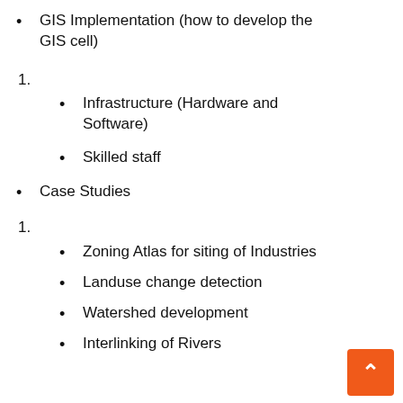GIS Implementation (how to develop the GIS cell)
1.
Infrastructure (Hardware and Software)
Skilled staff
Case Studies
1.
Zoning Atlas for siting of Industries
Landuse change detection
Watershed development
Interlinking of Rivers